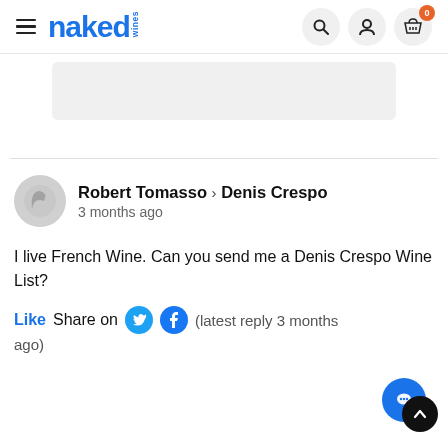naked wines — navigation header with search, user, and basket icons
[Figure (screenshot): Partially visible content area / image placeholder (light grey rounded rectangle)]
Robert Tomasso > Denis Crespo
3 months ago
I live French Wine. Can you send me a Denis Crespo Wine List?
Like  Share on  [Twitter] [Facebook]  (latest reply 3 months ago)